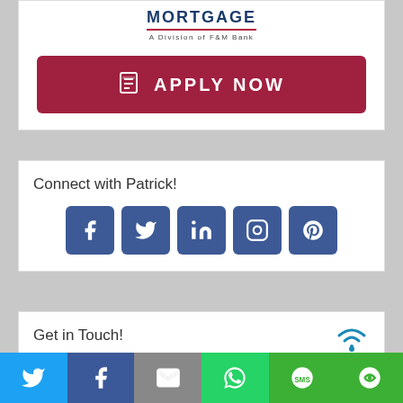[Figure (logo): MORTGAGE - A Division of F&M Bank logo with blue text and red underline]
[Figure (other): APPLY NOW button in dark red/crimson with a document icon]
Connect with Patrick!
[Figure (other): Social media icons: Facebook, Twitter, LinkedIn, Instagram, Pinterest - all in dark blue square buttons]
Get in Touch!
[Figure (other): Bottom share bar with Twitter, Facebook, Email, WhatsApp, SMS, and other sharing icons]